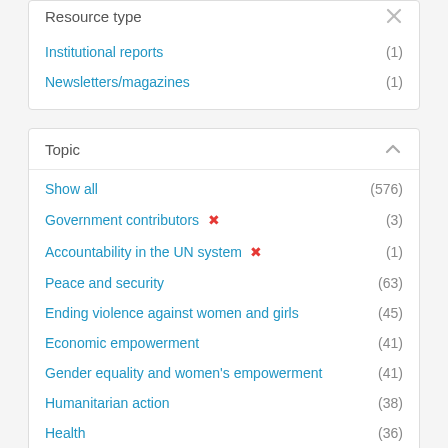Resource type
Institutional reports (1)
Newsletters/magazines (1)
Topic
Show all (576)
Government contributors ✕ (3)
Accountability in the UN system ✕ (1)
Peace and security (63)
Ending violence against women and girls (45)
Economic empowerment (41)
Gender equality and women's empowerment (41)
Humanitarian action (38)
Health (36)
COVID-19 (34)